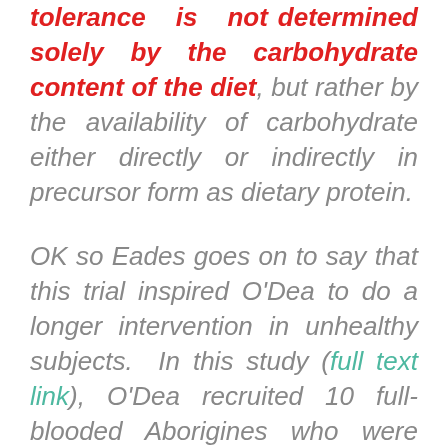tolerance is not determined solely by the carbohydrate content of the diet, but rather by the availability of carbohydrate either directly or indirectly in precursor form as dietary protein.
OK so Eades goes on to say that this trial inspired O'Dea to do a longer intervention in unhealthy subjects. In this study (full text link), O'Dea recruited 10 full-blooded Aborigines who were diabetic and sent them to